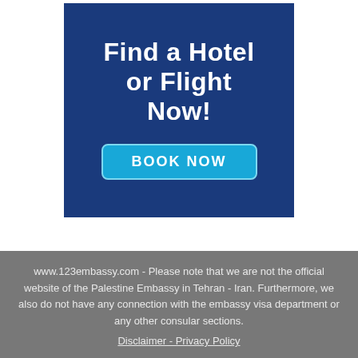[Figure (infographic): Dark blue advertisement banner with white bold text reading 'Find a Hotel or Flight Now!' and a cyan 'BOOK NOW' button with rounded corners and border.]
www.123embassy.com - Please note that we are not the official website of the Palestine Embassy in Tehran - Iran. Furthermore, we also do not have any connection with the embassy visa department or any other consular sections.
Disclaimer - Privacy Policy